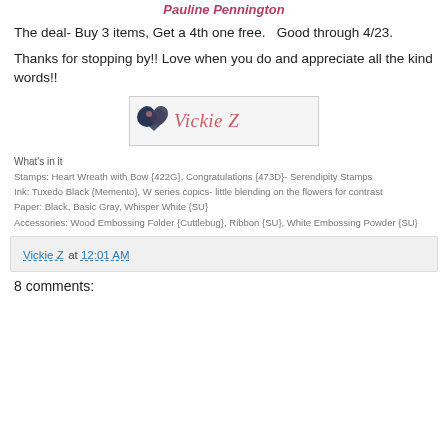Pauline Pennington
The deal- Buy 3 items, Get a 4th one free.   Good through 4/23.
Thanks for stopping by!! Love when you do and appreciate all the kind words!!
[Figure (logo): Vickie Z signature logo with dark navy heart on left and cursive coral/red text reading Vickie Z on right, in a light gray box with border]
What's in it
Stamps: Heart Wreath with Bow {422G}, Congratulations {473D}- Serendipity Stamps
Ink: Tuxedo Black {Memento}, W series copics- little blending on the flowers for contrast
Paper: Black, Basic Gray, Whisper White {SU}
Accessories: Wood Embossing Folder {Cuttlebug}, Ribbon {SU}, White Embossing Powder {SU}
Vickie Z at 12:01 AM
8 comments: